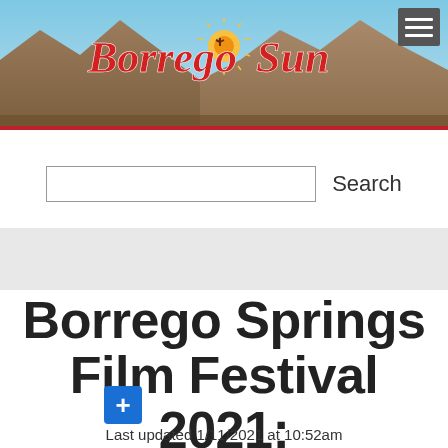[Figure (logo): Borrego Sun newspaper website header banner with mountain landscape background and red cursive Borrego Sun logo with sun icon]
Borrego Springs Film Festival 2021: POSTPONED
Last updated 1/11/2021 at 10:52am